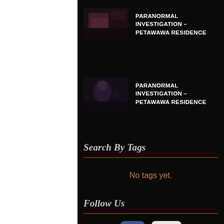[Figure (screenshot): Video thumbnail for Paranormal Investigation - Petawawa Residence (dark blurry image)]
PARANORMAL INVESTIGATION - PETAWAWA RESIDENCE
[Figure (screenshot): Video thumbnail for Paranormal Investigation - Petawawa Residence (dark image with silhouette)]
PARANORMAL INVESTIGATION - PETAWAWA RESIDENCE
Search By Tags
No tags yet.
Follow Us
[Figure (logo): Facebook and YouTube social media icons]